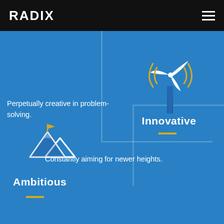RADIX
[Figure (illustration): Wind turbine icon in white with gold/yellow signal arcs on a blue background]
Perpetually creative in problem-solving.
Innovative
[Figure (illustration): Mountain peaks with a flag icon in white and gold on a blue background]
Constantly aiming for newer heights.
Ambitious